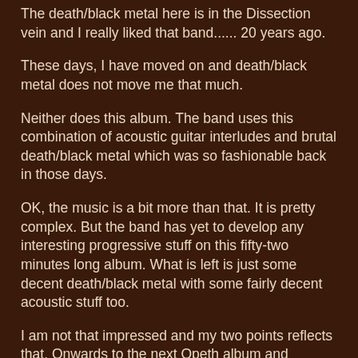The death/black metal here is in the Dissection vein and I really liked that band...... 20 years ago.
These days, I have moved on and death/black metal does not move me that much.
Neither does this album. The band uses this combination of acoustic guitar interludes and brutal death/black metal which was so fashionable back in those days.
OK, the music is a bit more than that. It is pretty complex. But the band has yet to develop any interesting progressive stuff on this fifty-two minutes long album. What is left is just some decent death/black metal with some fairly decent acoustic stuff too.
I am not that impressed and my two points reflects that. Onwards to the next Opeth album and hopefully something far more interesting than this one.
2 points